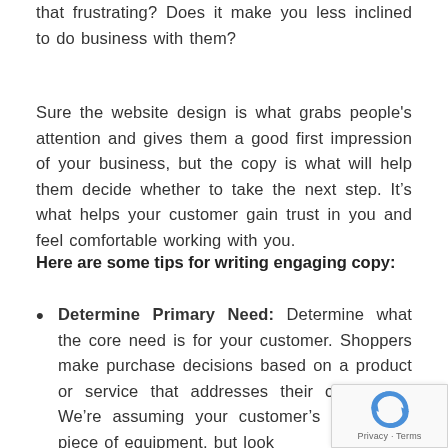that frustrating? Does it make you less inclined to do business with them?
Sure the website design is what grabs people's attention and gives them a good first impression of your business, but the copy is what will help them decide whether to take the next step. It's what helps your customer gain trust in you and feel comfortable working with you.
Here are some tips for writing engaging copy:
Determine Primary Need: Determine what the core need is for your customer. Shoppers make purchase decisions based on a product or service that addresses their core need. We're assuming your customer's need is a piece of equipment, but look